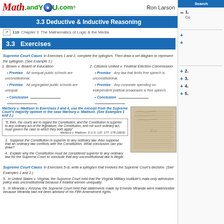Math.andYOU.com Ron Larson
3.3 Deductive & Inductive Reasoning
110 Chapter 3 The Mathematics of Logic & the Media
3.3 Exercises
Supreme Court Cases In Exercises 1 and 2, complete the syllogism. Then draw a set diagram to represent the syllogism. (See Example 1.)
1. Brown v. Board of Education
• Premise All unequal public schools are unconstitutional.
• Premise All segregated public schools are unequal.
• Conclusion ___
2. Citizens United v. Federal Election Commission
• Premise Any law that limits free speech is unconstitutional.
• Premise Any corporate spending on independent political broadcasts is free speech.
• Conclusion ___
Marbury v. Madison In Exercises 3 and 4, use the excerpt from the Supreme Court's majority opinion in the case Marbury v. Madison. (See Examples 1 and 2.)
[Figure (photo): Handwritten historical document, likely the Constitution or a court opinion, aged paper with cursive writing]
"If, then, the courts are to regard the Constitution, and the Constitution is superior to any ordinary act of the legislature, the Constitution, and not such ordinary act, must govern the case to which they both apply" Marbury v. Madison, 5 U.S. 137, 177, 178 (1803)
3. Suppose the Constitution is superior to any ordinary law. Also suppose that an ordinary law conflicts with the Constitution. What conclusion can you draw?
4. Explain why the Constitution must be considered superior to any ordinary law for the Supreme Court to conclude that any unconstitutional law is illegal.
Supreme Court Cases In Exercises 5–8, write a syllogism that involves the Supreme Court's decision. (See Examples 1 and 2.)
5. In United States v. Virginia, the Supreme Court held that the Virginia Military Institute's male-only admission policy was unconstitutional because it treated women unequally.
6. In Miranda v. Arizona, the Supreme Court held that statements made by Ernesto Miranda were inadmissible because Miranda had not been advised of his Fifth Amendment rights.